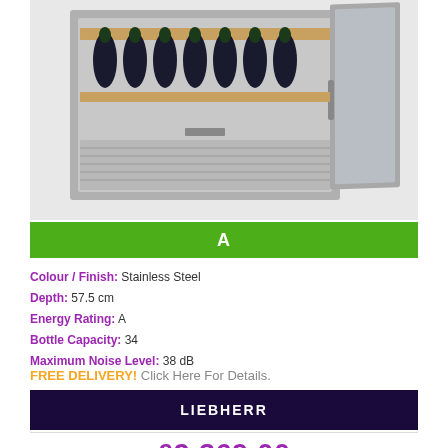[Figure (photo): Liebherr wine cooler/refrigerator with open door showing wine bottles on wooden shelves, stainless steel finish]
A
Colour / Finish: Stainless Steel
Depth: 57.5 cm
Energy Rating: A
Bottle Capacity: 34
Maximum Noise Level: 38 dB
FREE DELIVERY! Click Here For Details.
LIEBHERR
£2,369.00